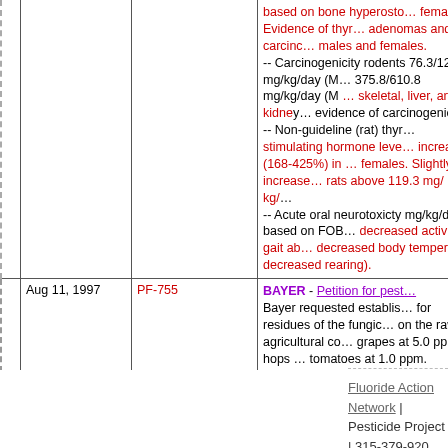|  | Date | Compound | Details |
| --- | --- | --- | --- |
|  |  |  | based on bone hyperoste... females Evidence of thyr... adenomas and/or carcinc... males and females.
-- Carcinogenicity rodents 76.3/123.9 mg/kg/day (M... 375.8/610.8 mg/kg/day (M... skeletal, liver, and kidney evidence of carcinogenic...
-- Non-guideline (rat) thyr... stimulating hormone leve... increased (168-425%) in... females. Slightly increase... rats above 119.3 mg/kg/...
-- Acute oral neurotoxicity mg/kg/day based on FOB... decreased activity, gait ab... decreased body tempera... decreased rearing). |
|  | Aug 11, 1997 | PF-755 | BAYER - Petition for pest... Bayer requested establis... for residues of the fungic... on the raw agricultural co... grapes at 5.0 ppm, hops... tomatoes at 1.0 ppm. |
Fluoride Action Network | Pesticide Project | 315-379-920... pesticides@fluoridealert.org